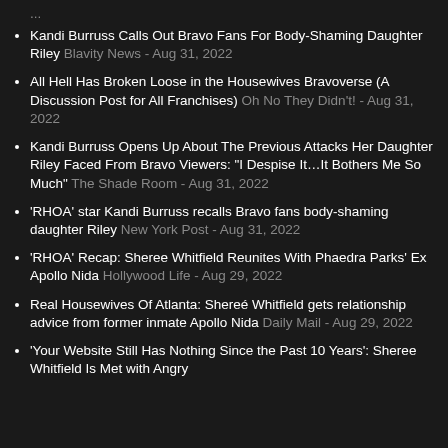Kandi Burruss Calls Out Bravo Fans For Body-Shaming Daughter Riley Blavity News - Aug 31, 2022
All Hell Has Broken Loose in the Housewives Bravoverse (A Discussion Post for All Franchises) Oh No They Didn't! - Aug 31, 2022
Kandi Burruss Opens Up About The Previous Attacks Her Daughter Riley Faced From Bravo Viewers: "I Despise It…It Bothers Me So Much" The Shade Room - Aug 31, 2022
'RHOA' star Kandi Burruss recalls Bravo fans body-shaming daughter Riley New York Post - Aug 31, 2022
'RHOA' Recap: Sheree Whitfield Reunites With Phaedra Parks' Ex Apollo Nida Hollywood Life - Aug 29, 2022
Real Housewives Of Atlanta: Shereé Whitfield gets relationship advice from former inmate Apollo Nida Daily Mail - Aug 29, 2022
'Your Website Still Has Nothing Since the Past 10 Years': Sheree Whitfield Is Met with Angry